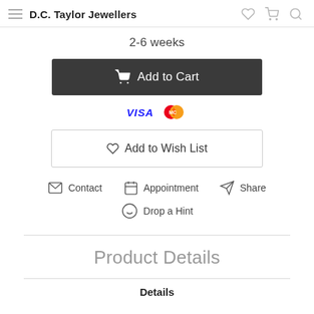D.C. Taylor Jewellers
2-6 weeks
Add to Cart
[Figure (logo): VISA and Mastercard payment icons]
Add to Wish List
Contact  Appointment  Share
Drop a Hint
Product Details
Details